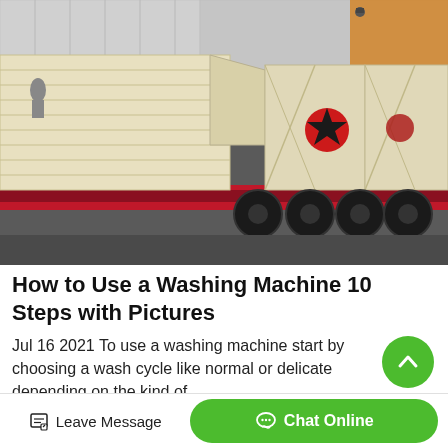[Figure (photo): Large industrial equipment loaded on a flatbed semi-truck trailer, photographed inside or near a warehouse/factory. The equipment appears to be cream/beige colored heavy machinery (possibly a sand washing machine or similar industrial equipment) with red and black components. The truck has multiple rear axles with large black tires.]
How to Use a Washing Machine 10 Steps with Pictures
Jul 16 2021 To use a washing machine start by choosing a wash cycle like normal or delicate depending on the kind of